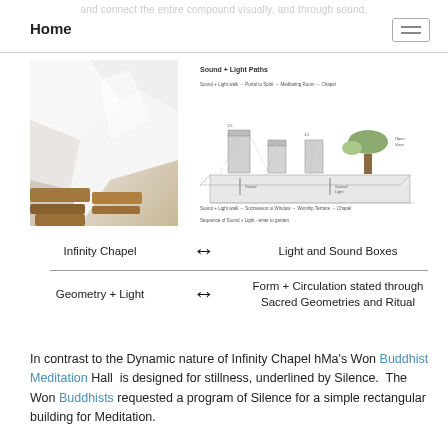and connect the entire compound visually, and through sound.
Home
[Figure (photo): Interior photograph of Infinity Chapel showing white curved geometric walls and wooden pews/benches.]
[Figure (schematic): Architectural diagram showing Sound + Light Paths with boxes and circulation paths labeled, including references to sound, light, meditation rooms, and chapel.]
Infinity Chapel ↔ Light and Sound Boxes
Geometry + Light ↔ Form + Circulation stated through Sacred Geometries and Ritual
In contrast to the Dynamic nature of Infinity Chapel hMa's Won Buddhist Meditation Hall  is designed for stillness, underlined by Silence.  The Won Buddhists requested a program of Silence for a simple rectangular building for Meditation.